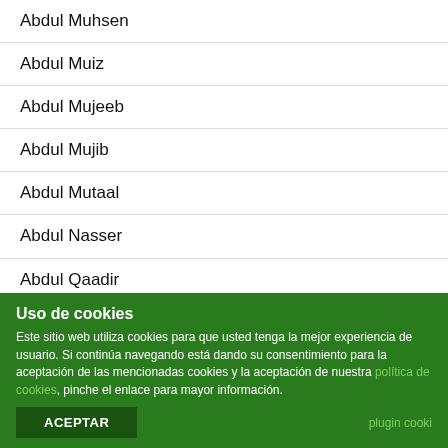Abdul Muhsen
Abdul Muiz
Abdul Mujeeb
Abdul Mujib
Abdul Mutaal
Abdul Nasser
Abdul Qaadir
Abdul Qader
Abdul Qadir
Abdul Qahaar
Abdul Qudsee
Uso de cookies

Este sitio web utiliza cookies para que usted tenga la mejor experiencia de usuario. Si continúa navegando está dando su consentimiento para la aceptación de las mencionadas cookies y la aceptación de nuestra política de cookies, pinche el enlace para mayor información.

ACEPTAR

plugin cooki